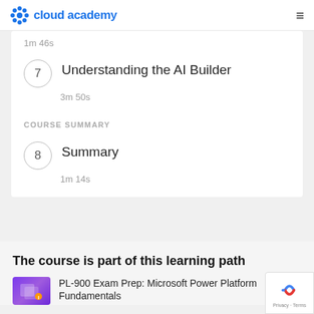cloud academy
1m 46s
7  Understanding the AI Builder
3m 50s
COURSE SUMMARY
8  Summary
1m 14s
The course is part of this learning path
PL-900 Exam Prep: Microsoft Power Platform Fundamentals